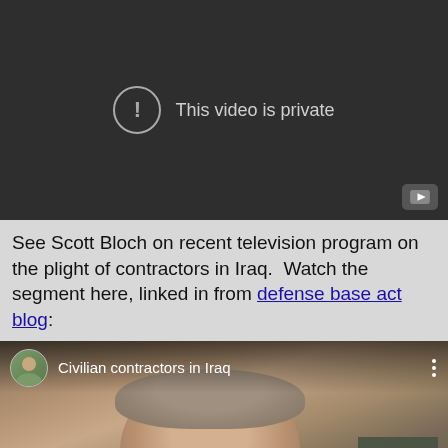[Figure (screenshot): YouTube video embed showing 'This video is private' message on dark background with YouTube icon in bottom right corner]
See Scott Bloch on recent television program on the plight of contractors in Iraq.  Watch the segment here, linked in from defense base act blog:
[Figure (screenshot): YouTube video thumbnail showing 'Civilian contractors in Iraq' with a man's face visible and channel avatar in top left, three-dot menu in top right]